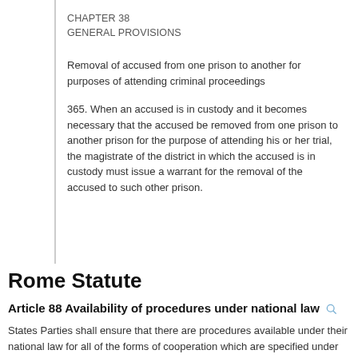CHAPTER 38
GENERAL PROVISIONS
Removal of accused from one prison to another for purposes of attending criminal proceedings
365. When an accused is in custody and it becomes necessary that the accused be removed from one prison to another prison for the purpose of attending his or her trial, the magistrate of the district in which the accused is in custody must issue a warrant for the removal of the accused to such other prison.
Rome Statute
Article 88 Availability of procedures under national law
States Parties shall ensure that there are procedures available under their national law for all of the forms of cooperation which are specified under this Part.
Article 89 Surrender of persons to the Court